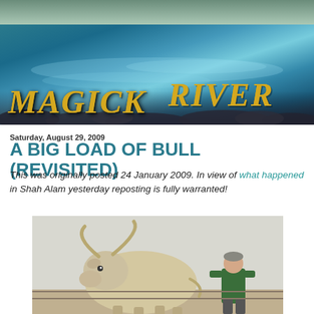[Figure (illustration): Blog banner header image: Magick River blog logo with rocky river stream background and golden italic text reading MAGICK RIVER]
Saturday, August 29, 2009
A BIG LOAD OF BULL (REVISITED)
This was originally posted 24 January 2009. In view of what happened in Shah Alam yesterday reposting is fully warranted!
[Figure (photo): Photo of a large white/light-colored bull with long horns standing next to a man in a green jacket]